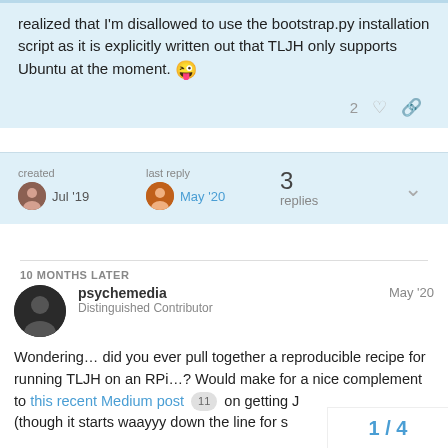realized that I'm disallowed to use the bootstrap.py installation script as it is explicitly written out that TLJH only supports Ubuntu at the moment. 😜
2 ♡ 🔗
created  Jul '19    last reply  May '20    3 replies
10 MONTHS LATER
psychemedia  May '20
Distinguished Contributor
Wondering… did you ever pull together a reproducible recipe for running TLJH on an RPi…? Would make for a nice complement to this recent Medium post  11  on getting J (though it starts waayyy down the line for s
1 / 4